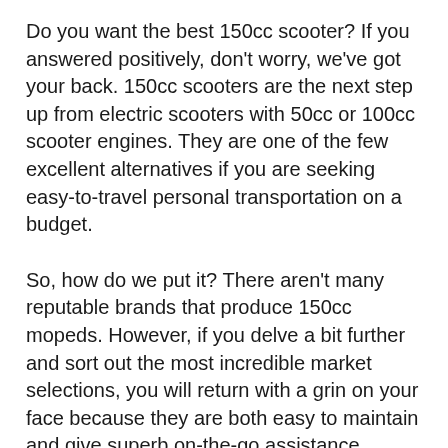Do you want the best 150cc scooter? If you answered positively, don't worry, we've got your back. 150cc scooters are the next step up from electric scooters with 50cc or 100cc scooter engines. They are one of the few excellent alternatives if you are seeking easy-to-travel personal transportation on a budget.
So, how do we put it? There aren't many reputable brands that produce 150cc mopeds. However, if you delve a bit further and sort out the most incredible market selections, you will return with a grin on your face because they are both easy to maintain and give superb on-the-go assistance.
The big twist occurs when you're trying to